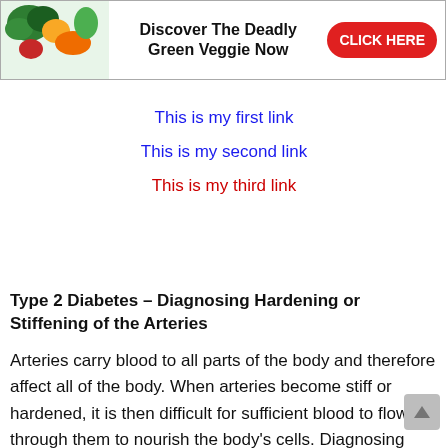[Figure (infographic): Advertisement banner with vegetable image on left, text 'Discover The Deadly Green Veggie Now' in center, and red 'CLICK HERE' button on right]
This is my first link
This is my second link
This is my third link
Type 2 Diabetes – Diagnosing Hardening or Stiffening of the Arteries
Arteries carry blood to all parts of the body and therefore affect all of the body. When arteries become stiff or hardened, it is then difficult for sufficient blood to flow through them to nourish the body's cells. Diagnosing arterial stiffness requires expensive testing. Pulse wave velocity and pulse wave analysis are the first tests used to diagnose the condition.